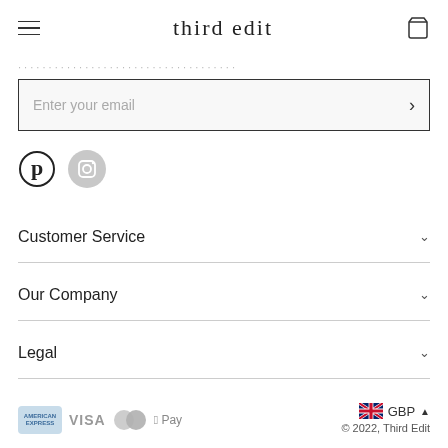third edit
Enter your email
[Figure (other): Pinterest and Instagram social media icons]
Customer Service
Our Company
Legal
[Figure (other): Payment method icons: American Express, Visa, Mastercard, Apple Pay]
GBP — © 2022, Third Edit